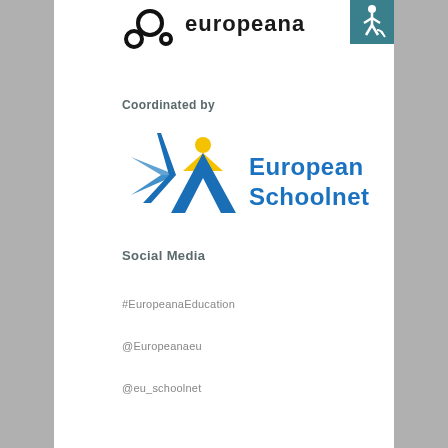[Figure (logo): Europeana logo with interlocking circles and 'europeana' text]
[Figure (logo): Accessibility icon (wheelchair symbol) on teal background]
Coordinated by
[Figure (logo): European Schoolnet logo with star figure and blue text]
Social Media
#EuropeanaEducation
@Europeanaeu
@eu_schoolnet